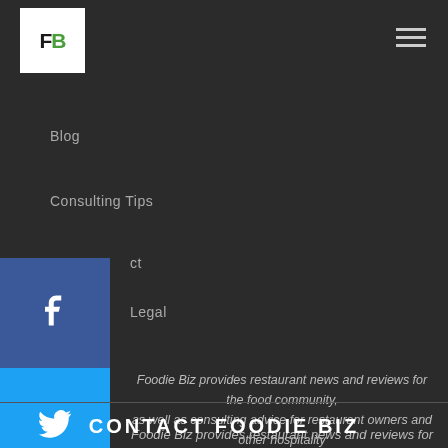[Figure (logo): Foodie Biz logo - white square with FB letters]
[Figure (other): Hamburger menu icon]
Blog
Consulting Tips
Contact
Legal
[Figure (other): Facebook social share icon - dark blue square with f logo]
[Figure (other): Twitter social share icon - blue square with bird logo]
[Figure (other): LinkedIn social share icon - blue square with in logo]
[Figure (other): Pinterest social share icon - red square with P logo]
[Figure (other): Reddit social share icon - orange square with alien logo]
Foodie Biz provides restaurant news and reviews for the food community, as well as consulting advice for restaurant owners and other hospitality professionals.
Contact Foodie Biz for media opportunities and freelance and other projects.
[Figure (other): Yellow circular up arrow button]
CONTACT FOODIE BIZ